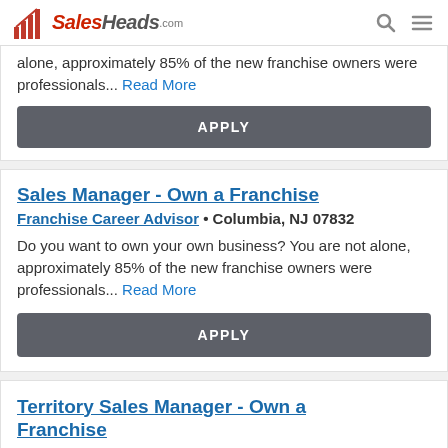SalesHeads.com
alone, approximately 85% of the new franchise owners were professionals... Read More
APPLY
Sales Manager - Own a Franchise
Franchise Career Advisor • Columbia, NJ 07832
Do you want to own your own business? You are not alone, approximately 85% of the new franchise owners were professionals... Read More
APPLY
Territory Sales Manager - Own a Franchise